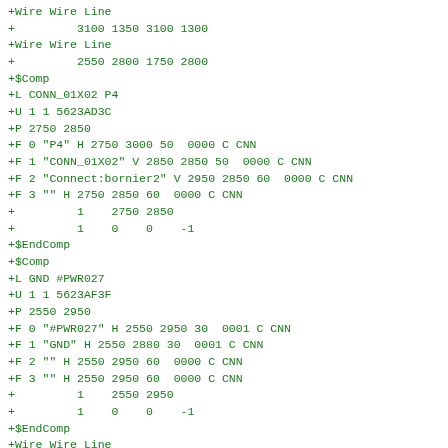+Wire Wire Line
+         3100 1350 3100 1300
+Wire Wire Line
+         2550 2800 1750 2800
+$Comp
+L CONN_01X02 P4
+U 1 1 5623AD3C
+P 2750 2850
+F 0 "P4" H 2750 3000 50  0000 C CNN
+F 1 "CONN_01X02" V 2850 2850 50  0000 C CNN
+F 2 "Connect:bornier2" V 2950 2850 60  0000 C CNN
+F 3 "" H 2750 2850 60  0000 C CNN
+         1    2750 2850
+         1    0    0    -1
+$EndComp
+$Comp
+L GND #PWR027
+U 1 1 5623AF3F
+P 2550 2950
+F 0 "#PWR027" H 2550 2950 30  0001 C CNN
+F 1 "GND" H 2550 2880 30  0001 C CNN
+F 2 "" H 2550 2950 60  0000 C CNN
+F 3 "" H 2550 2950 60  0000 C CNN
+         1    2550 2950
+         1    0    0    -1
+$EndComp
+Wire Wire Line
+         2550 2950 2550 2900
 $EndSCHEMATC